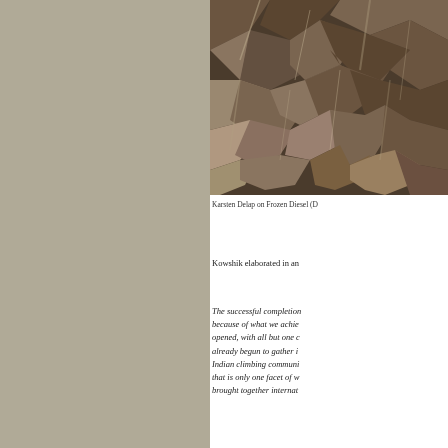[Figure (photo): Sepia-toned photograph of rocky cliff face or rock formation, showing detailed texture of jagged stone surfaces.]
Karsten Delap on Frozen Diesel (D
Kowshik elaborated in an
The successful completion because of what we achieved, opened, with all but one c already begun to gather i Indian climbing communi that is only one facet of w brought together internat